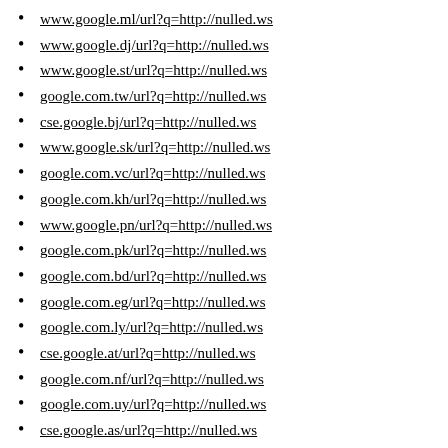www.google.ml/url?q=http://nulled.ws
www.google.dj/url?q=http://nulled.ws
www.google.st/url?q=http://nulled.ws
google.com.tw/url?q=http://nulled.ws
cse.google.bj/url?q=http://nulled.ws
www.google.sk/url?q=http://nulled.ws
google.com.vc/url?q=http://nulled.ws
google.com.kh/url?q=http://nulled.ws
www.google.pn/url?q=http://nulled.ws
google.com.pk/url?q=http://nulled.ws
google.com.bd/url?q=http://nulled.ws
google.com.eg/url?q=http://nulled.ws
google.com.ly/url?q=http://nulled.ws
cse.google.at/url?q=http://nulled.ws
google.com.nf/url?q=http://nulled.ws
google.com.uy/url?q=http://nulled.ws
cse.google.as/url?q=http://nulled.ws
www.google.nl/url?q=http://nulled.ws
www.google.me/url?q=http://nulled.ws